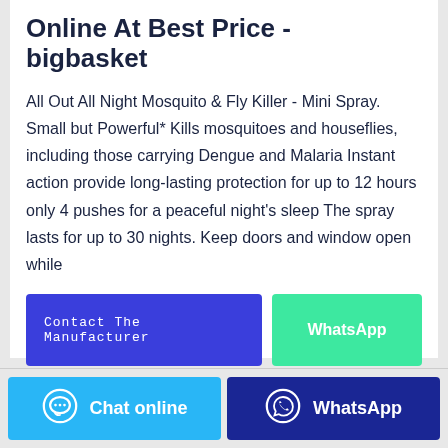Online At Best Price - bigbasket
All Out All Night Mosquito & Fly Killer - Mini Spray. Small but Powerful* Kills mosquitoes and houseflies, including those carrying Dengue and Malaria Instant action provide long-lasting protection for up to 12 hours only 4 pushes for a peaceful night's sleep The spray lasts for up to 30 nights. Keep doors and window open while
[Figure (screenshot): Two buttons: 'Contact The Manufacturer' (blue) and 'WhatsApp' (green)]
[Figure (screenshot): Bottom bar with 'Chat online' (light blue) and 'WhatsApp' (dark blue) buttons]